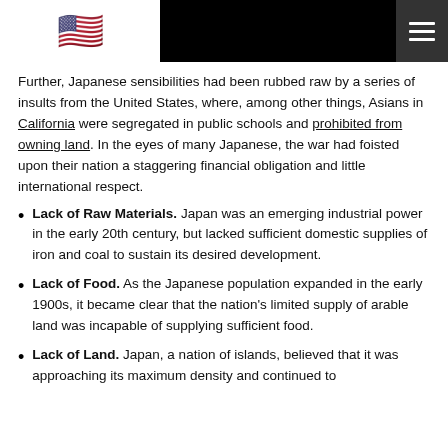[US flag] [hamburger menu]
Further, Japanese sensibilities had been rubbed raw by a series of insults from the United States, where, among other things, Asians in California were segregated in public schools and prohibited from owning land. In the eyes of many Japanese, the war had foisted upon their nation a staggering financial obligation and little international respect.
Lack of Raw Materials. Japan was an emerging industrial power in the early 20th century, but lacked sufficient domestic supplies of iron and coal to sustain its desired development.
Lack of Food. As the Japanese population expanded in the early 1900s, it became clear that the nation's limited supply of arable land was incapable of supplying sufficient food.
Lack of Land. Japan, a nation of islands, believed that it was approaching its maximum density and continued to